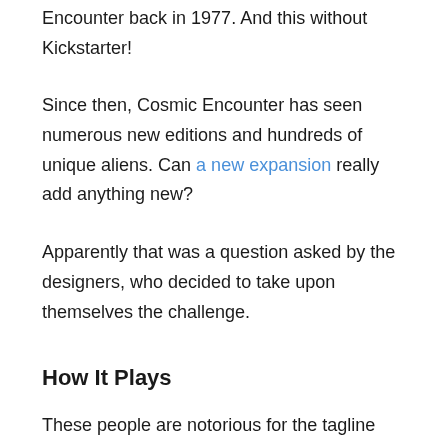Encounter back in 1977. And this without Kickstarter!
Since then, Cosmic Encounter has seen numerous new editions and hundreds of unique aliens. Can a new expansion really add anything new?
Apparently that was a question asked by the designers, who decided to take upon themselves the challenge.
How It Plays
These people are notorious for the tagline “Fair isn’t fun,” so you can expect that these aliens are wild and off the charts with some exciting stuff.